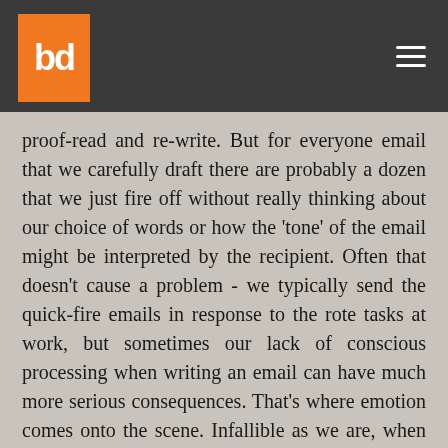bd [logo]
proof-read and re-write. But for everyone email that we carefully draft there are probably a dozen that we just fire off without really thinking about our choice of words or how the 'tone' of the email might be interpreted by the recipient. Often that doesn't cause a problem - we typically send the quick-fire emails in response to the rote tasks at work, but sometimes our lack of conscious processing when writing an email can have much more serious consequences. That's where emotion comes onto the scene. Infallible as we are, when we write an email whilst experiencing powerful negative emotions such as anger and frustration it shows. The email is likely to read as aggressive, defensive or downright rude! The impact of that is never good.
I'm sure this isn't news to any of you – we all know